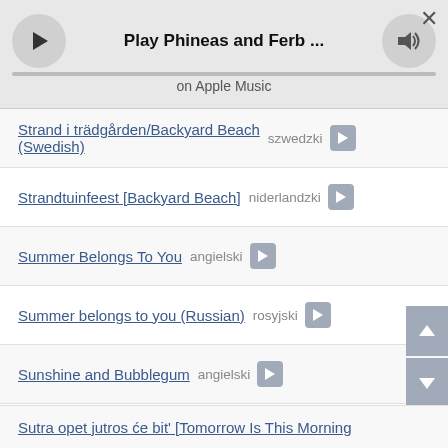[Figure (screenshot): Apple Music player bar with play button, progress bar, title 'Play Phineas and Ferb ...' and speaker/close buttons]
Strand i trädgården/Backyard Beach (Swedish)  szwedzki ▶
Strandtuinfeest [Backyard Beach]  niderlandzki ▶
Summer Belongs To You  angielski ▶
Summer belongs to you (Russian)  rosyjski ▶
Sunshine and Bubblegum  angielski ▶
Super węzeł [Gordian Knot]  polski ▶
Surfin' Asteroids  angielski ▶
Sutra opet jutros će bit' [Tomorrow Is This Morning ...